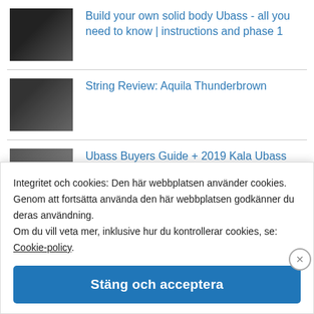Build your own solid body Ubass - all you need to know | instructions and phase 1
String Review: Aquila Thunderbrown
Ubass Buyers Guide + 2019 Kala Ubass Lineup
Integritet och cookies: Den här webbplatsen använder cookies. Genom att fortsätta använda den här webbplatsen godkänner du deras användning. Om du vill veta mer, inklusive hur du kontrollerar cookies, se: Cookie-policy.
Stäng och acceptera